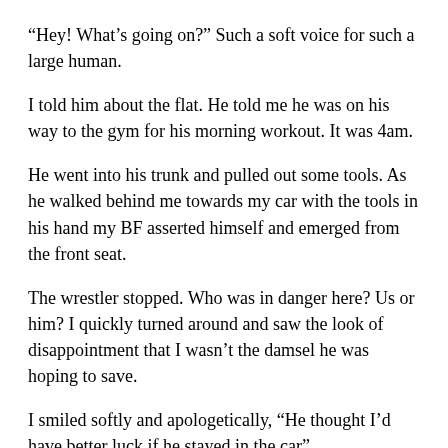“Hey! What’s going on?” Such a soft voice for such a large human.
I told him about the flat. He told me he was on his way to the gym for his morning workout. It was 4am.
He went into his trunk and pulled out some tools. As he walked behind me towards my car with the tools in his hand my BF asserted himself and emerged from the front seat.
The wrestler stopped. Who was in danger here? Us or him? I quickly turned around and saw the look of disappointment that I wasn’t the damsel he was hoping to save.
I smiled softly and apologetically, “He thought I’d have better luck if he stayed in the car”